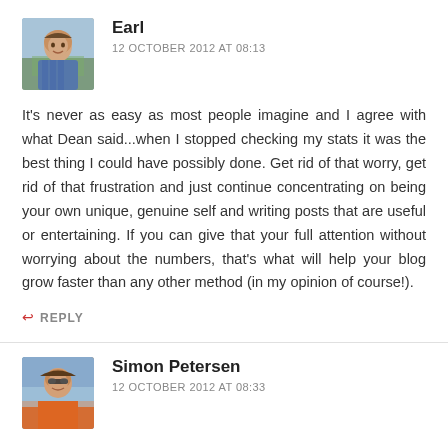[Figure (photo): Avatar photo of Earl, a man in a blue checkered shirt, smiling, outdoors]
Earl
12 OCTOBER 2012 AT 08:13
It's never as easy as most people imagine and I agree with what Dean said...when I stopped checking my stats it was the best thing I could have possibly done. Get rid of that worry, get rid of that frustration and just continue concentrating on being your own unique, genuine self and writing posts that are useful or entertaining. If you can give that your full attention without worrying about the numbers, that's what will help your blog grow faster than any other method (in my opinion of course!).
↩ REPLY
[Figure (photo): Avatar photo of Simon Petersen, a person wearing sunglasses and an orange shirt, outdoors near water]
Simon Petersen
12 OCTOBER 2012 AT 08:33